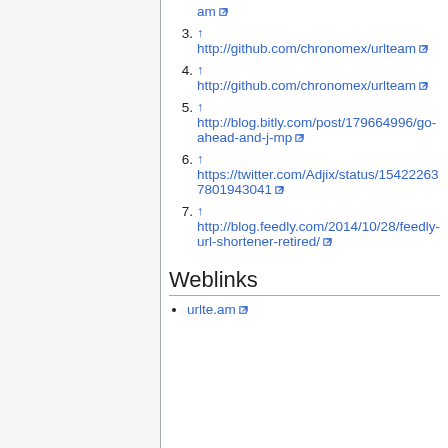3. ↑ http://github.com/chronomex/urlteam [external link]
4. ↑ http://github.com/chronomex/urlteam [external link]
5. ↑ http://blog.bitly.com/post/179664996/go-ahead-and-j-mp [external link]
6. ↑ https://twitter.com/Adjix/status/154222637801943041 [external link]
7. ↑ http://blog.feedly.com/2014/10/28/feedly-url-shortener-retired/ [external link]
Weblinks
urlte.am [external link]